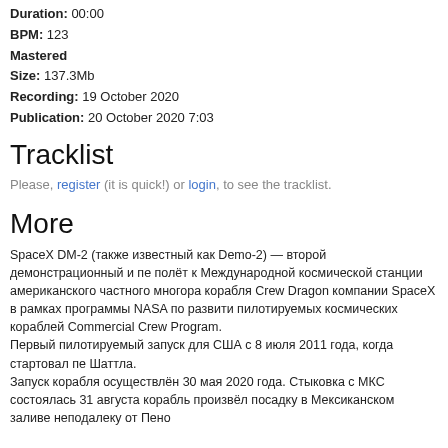Duration: 00:00
BPM: 123
Mastered
Size: 137.3Mb
Recording: 19 October 2020
Publication: 20 October 2020 7:03
Tracklist
Please, register (it is quick!) or login, to see the tracklist.
More
SpaceX DM-2 (также известный как Demo-2) — второй демонстрационный и пе полёт к Международной космической станции американского частного многора корабля Crew Dragon компании SpaceX в рамках программы NASA по развити пилотируемых космических кораблей Commercial Crew Program. Первый пилотируемый запуск для США с 8 июля 2011 года, когда стартовал пе Шаттла. Запуск корабля осуществлён 30 мая 2020 года. Стыковка с МКС состоялась 31 августа корабль произвёл посадку в Мексиканском заливе неподалеку от Пено
Crew Dragon Demo-2 was the first crewed test flight of the Crew Dragon spacecraf named Endeavour, launched on 30 May 2020 at 19:22:45 UTC (3:22:45 PM EST) o Booster B1058.1, and carried NASA astronauts Douglas Hurley and Robert Behnke Space Station in the first crewed orbital spaceflight launched from the United States Shuttle mission, STS-135, in 2011, and the first ever operated by a commercial pro